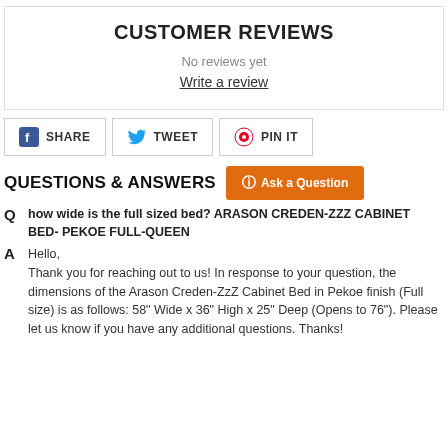CUSTOMER REVIEWS
No reviews yet
Write a review
SHARE
TWEET
PIN IT
QUESTIONS & ANSWERS
Ask a Question
Q  how wide is the full sized bed? ARASON CREDEN-ZZZ CABINET BED- PEKOE FULL-QUEEN
A  Hello,
Thank you for reaching out to us! In response to your question, the dimensions of the Arason Creden-ZzZ Cabinet Bed in Pekoe finish (Full size) is as follows: 58" Wide x 36" High x 25" Deep (Opens to 76"). Please let us know if you have any additional questions. Thanks!